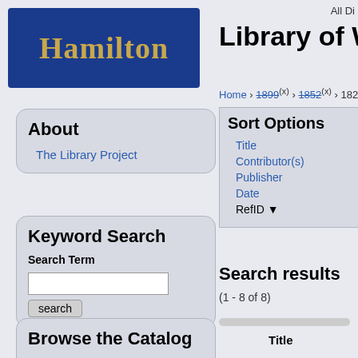[Figure (logo): Hamilton college logo - dark blue rectangle with 'Hamilton' in gold serif text]
Library of W
All Di
Home › 1899 (x) › 1852 (x) › 1829 (x)
About
The Library Project
Sort Options
Title
Contributor(s)
Publisher
Date
RefID ▼
Keyword Search
Search Term
Search results
(1 - 8 of 8)
Browse the Catalog
Titles
| Title |
| --- |